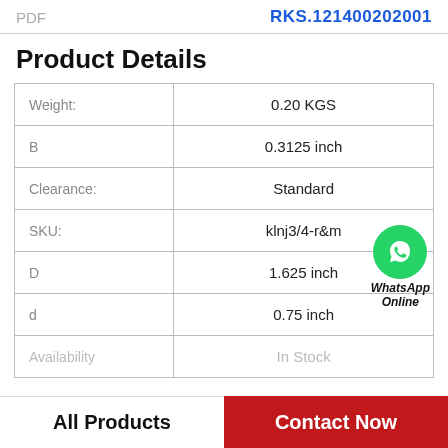PDF    RKS.121400202001
Product Details
| Property | Value |
| --- | --- |
| Weight: | 0.20 KGS |
| B | 0.3125 inch |
| Clearance: | Standard |
| SKU: | klnj3/4-r&m |
| D | 1.625 inch |
| d | 0.75 inch |
| Availability | In Stock |
[Figure (logo): WhatsApp Online green circle icon with phone handset, labeled WhatsApp Online in bold italic text]
All Products    Contact Now